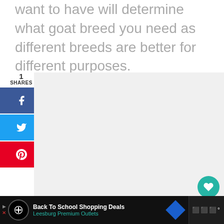want to have will determine what goat breed you need as different breeds are better for different purposes.
[Figure (screenshot): Social share sidebar with Facebook, Twitter, Pinterest buttons showing 1 SHARES count, and a large light-grey placeholder image area with heart reaction button (count 2) and share button on the right side]
[Figure (infographic): Ad bar at bottom: Back To School Shopping Deals - Leesburg Premium Outlets advertisement on dark background]